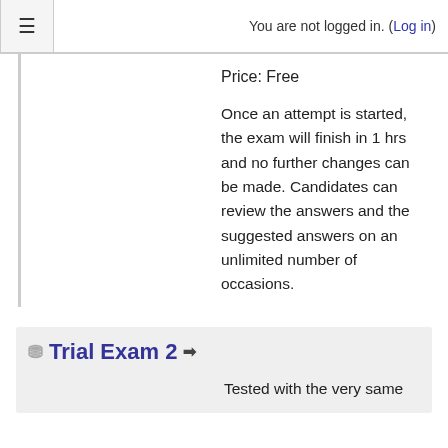≡    You are not logged in. (Log in)
Price: Free
Once an attempt is started, the exam will finish in 1 hrs and no further changes can be made. Candidates can review the answers and the suggested answers on an unlimited number of occasions.
Trial Exam 2
Tested with the very same